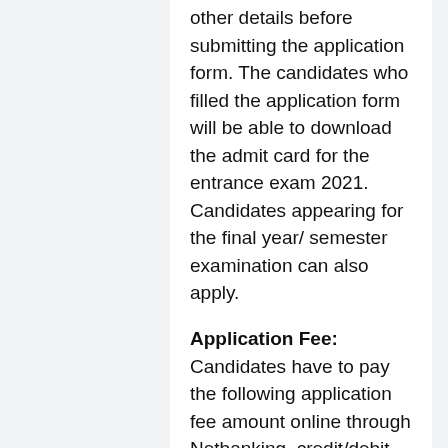other details before submitting the application form. The candidates who filled the application form will be able to download the admit card for the entrance exam 2021. Candidates appearing for the final year/ semester examination can also apply.
Application Fee: Candidates have to pay the following application fee amount online through Netbanking, credit/debit card or UPI.
Entrance Programs- Rs 500 (Rs 250 for SC/ST)
Non-Entrance and PG Diploma- Rs 300 (Rs 150 for SC/ST)